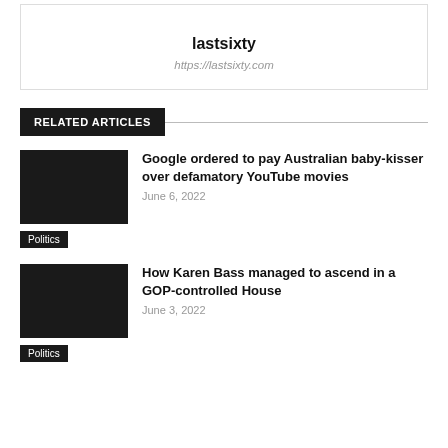lastsixty
https://lastsixty.com
RELATED ARTICLES
Google ordered to pay Australian baby-kisser over defamatory YouTube movies
June 6, 2022
Politics
How Karen Bass managed to ascend in a GOP-controlled House
June 3, 2022
Politics